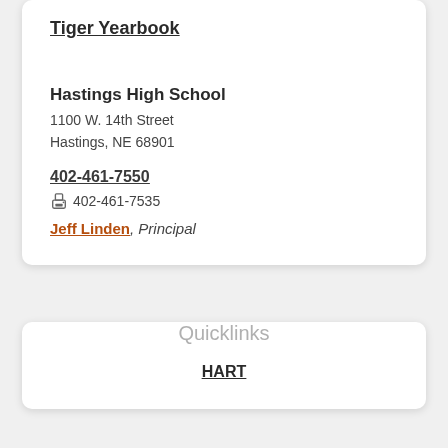Tiger Yearbook
Hastings High School
1100 W. 14th Street
Hastings, NE 68901
402-461-7550
402-461-7535
Jeff Linden, Principal
Quicklinks
HART